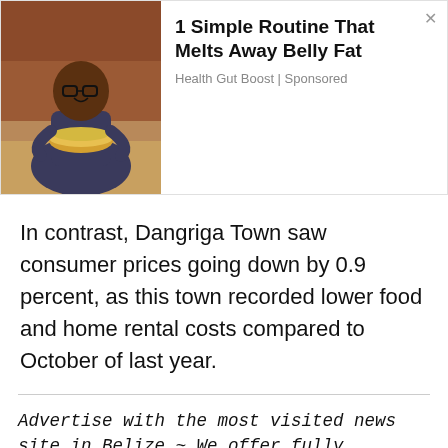[Figure (photo): Advertisement banner showing a man holding a bowl of food, with text '1 Simple Routine That Melts Away Belly Fat' and source 'Health Gut Boost | Sponsored']
In contrast, Dangriga Town saw consumer prices going down by 0.9 percent, as this town recorded lower food and home rental costs compared to October of last year.
Advertise with the most visited news site in Belize ~ We offer fully customizable and flexible digital marketing packages. Your content is delivered instantly to thousands of users in Belize and abroad! Contact us at marketing@breakingbelizenews.com or call us at 501-601-0315.